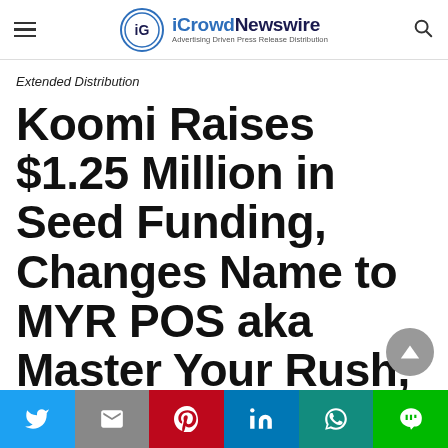iCrowdNewswire — Advertising Driven Press Release Distribution
Extended Distribution
Koomi Raises $1.25 Million in Seed Funding, Changes Name to MYR POS aka Master Your Rush, and Appoints Lester Fernandes to Board of Directors